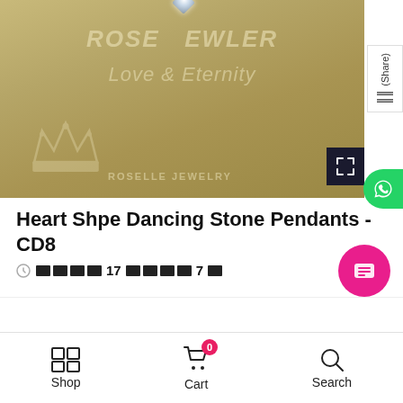[Figure (photo): Product photo of a jewelry item from Roselle Jewelry. Shows a khaki/tan cardboard background with the Roselle Jewelry crown logo and 'Love & Eternity' text embossed. A diamond/crystal stone is visible at the top center. An expand/fullscreen button is in the lower right corner.]
Heart Shpe Dancing Stone Pendants - CD8
17 reviews, 7 days ago
Shop   Cart 0   Search